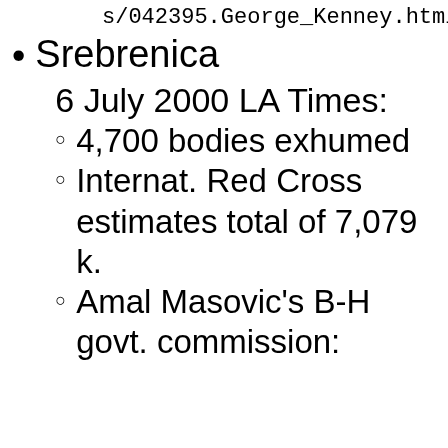s/042395.George_Kenney.html])
Srebrenica
6 July 2000 LA Times:
4,700 bodies exhumed
Internat. Red Cross estimates total of 7,079 k.
Amal Masovic's B-H govt. commission: